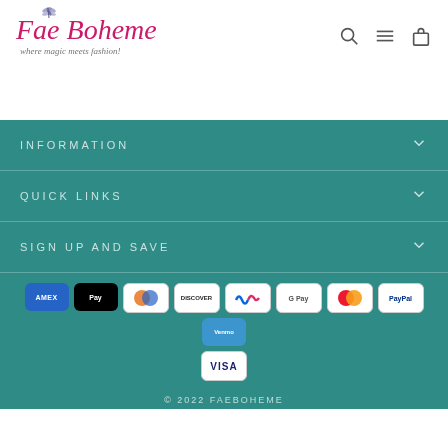[Figure (logo): Fae Boheme logo with dragonfly and tagline 'where magic meets fashion!']
[Figure (infographic): Header navigation icons: search, menu, cart]
INFORMATION
QUICK LINKS
SIGN UP AND SAVE
[Figure (infographic): Payment method icons: American Express, Apple Pay, Diners Club, Discover, Meta Pay, Google Pay, Mastercard, PayPal, Venmo, Visa]
© 2022 FAEBOHEME